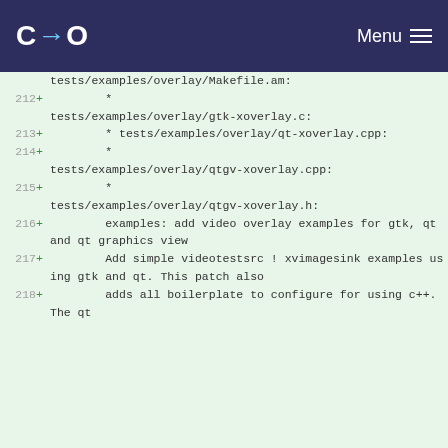C+O Menu
tests/examples/overlay/Makefile.am:
212 + * tests/examples/overlay/gtk-xoverlay.c:
213 + * tests/examples/overlay/qt-xoverlay.cpp:
214 + * tests/examples/overlay/qtgv-xoverlay.cpp:
215 + * tests/examples/overlay/qtgv-xoverlay.h:
216 + examples: add video overlay examples for gtk, qt and qt graphics view
217 + Add simple videotestsrc ! xvimagesink examples using gtk and qt. This patch also
218 + adds all boilerplate to configure for using c++. The qt